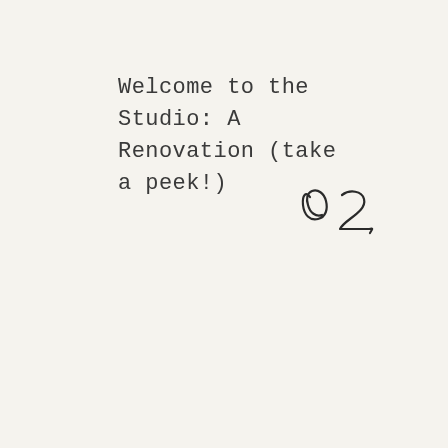Welcome to the Studio: A Renovation (take a peek!)
[Figure (illustration): Handwritten script numeral '02' in black ink, resembling a hand-lettered page number]